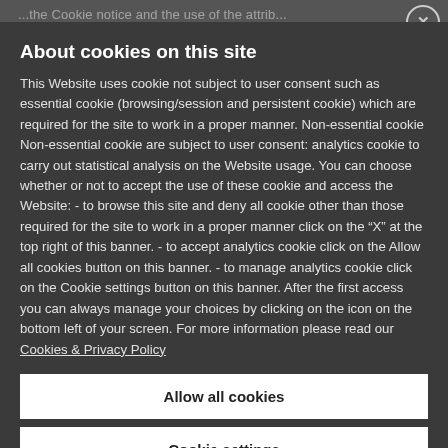...the Cookie notice and the use of the attrib...
About cookies on this site
This Website uses cookie not subject to user consent such as essential cookie (browsing/session and persistent cookie) which are required for the site to work in a proper manner. Non-essential cookie Non-essential cookie are subject to user consent: analytics cookie to carry out statistical analysis on the Website usage. You can choose whether or not to accept the use of these cookie and access the Website: - to browse this site and deny all cookie other than those required for the site to work in a proper manner click on the “X” at the top right of this banner. - to accept analytics cookie click on the Allow all cookies button on this banner. - to manage analytics cookie click on the Cookie settings button on this banner. After the first access you can always manage your choices by clicking on the icon on the bottom left of your screen. For more information please read our Cookies & Privacy Policy
Allow all cookies
Cookie settings